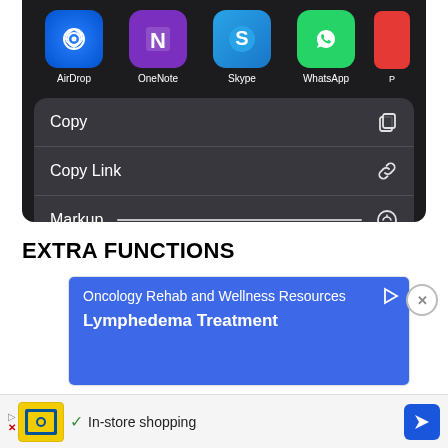[Figure (screenshot): iOS share sheet screenshot showing app icons (AirDrop, OneNote, Skype, WhatsApp, and a partially visible red icon) and a dark menu with Copy, Copy Link, and Markup options.]
EXTRA FUNCTIONS
[Figure (screenshot): Advertisement showing a blue box with text 'Oncology Rehab and Wellness Resources' and 'Lymphedema Treatment']
[Figure (screenshot): Bottom banner ad with Lidl logo, checkmark and 'In-store shopping' text, and a blue navigation arrow icon]